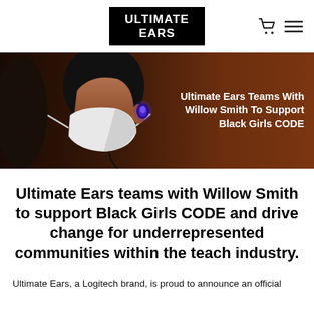ULTIMATE EARS
[Figure (photo): Person wearing a white face mask with a glowing blue in-ear monitor, photographed from the side against a dark warm brown background. Text overlay on the right reads: 'Ultimate Ears Teams With Willow Smith To Support Black Girls CODE']
Ultimate Ears teams with Willow Smith to support Black Girls CODE and drive change for underrepresented communities within the teach industry.
Ultimate Ears, a Logitech brand, is proud to announce an official